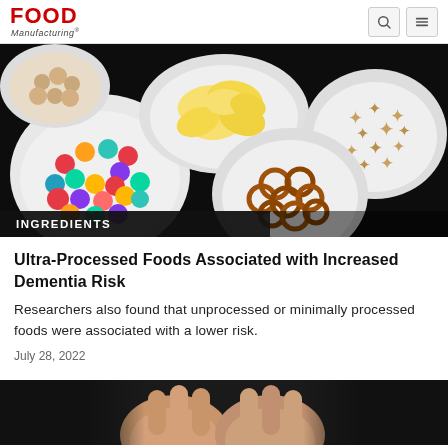Food Manufacturing
[Figure (photo): Overhead view of bowls of various snack foods on a dark background: cookies, potato chips, M&M candies, pretzels, and star-shaped crackers]
INGREDIENTS
Ultra-Processed Foods Associated with Increased Dementia Risk
Researchers also found that unprocessed or minimally processed foods were associated with a lower risk.
July 28, 2022
[Figure (photo): Close-up of hands, partially visible, on a dark background]